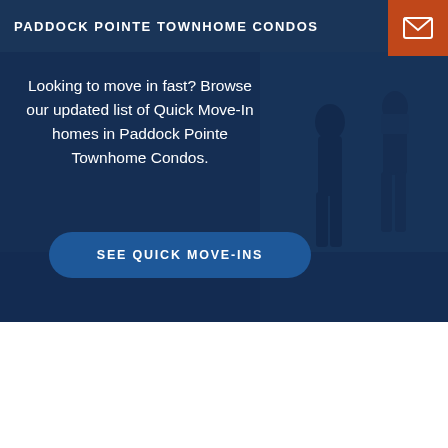PADDOCK POINTE TOWNHOME CONDOS
Looking to move in fast? Browse our updated list of Quick Move-In homes in Paddock Pointe Townhome Condos.
SEE QUICK MOVE-INS
Community Site Plan
See how our community has been meticulously planned out by downloading a copy of our